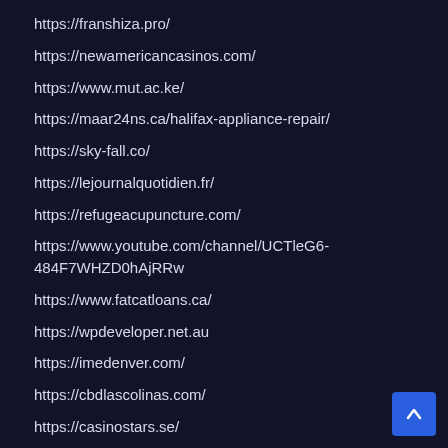https://franshiza.pro/
https://newamericancasinos.com/
https://www.mut.ac.ke/
https://maar24ns.ca/halifax-appliance-repair/
https://sky-fall.co/
https://lejournalquotidien.fr/
https://refugeacupuncture.com/
https://www.youtube.com/channel/UCTleG6-484F7WHZD0hAjRRw
https://www.fatcatloans.ca/
https://wpdeveloper.net.au
https://imedenver.com/
https://cbdlascolinas.com/
https://casinostars.se/
https://www.placedesrencontres.net/